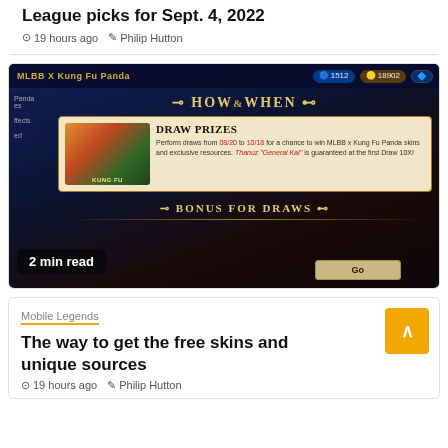League picks for Sept. 4, 2022
19 hours ago  Philip Hutton
[Figure (screenshot): MLBB X Kung Fu Panda game screenshot showing HOW&WHEN section with DRAW PRIZES panel and BONUS FOR DRAWS section]
2 min read
Mobile Legends
The way to get the free skins and unique sources
19 hours ago  Philip Hutton